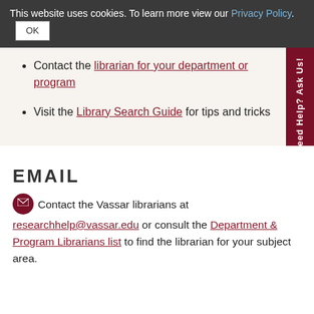This website uses cookies. To learn more view our Privacy Policy.
Contact the librarian for your department or program
Visit the Library Search Guide for tips and tricks
EMAIL
Contact the Vassar librarians at researchhelp@vassar.edu or consult the Department & Program Librarians list to find the librarian for your subject area.